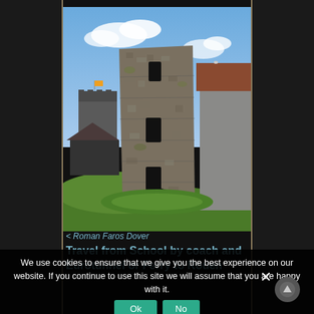[Figure (photo): Stone Roman lighthouse tower (Pharos) at Dover Castle, showing a tall cylindrical/octagonal flint stone tower with arrow-slit windows, green grassy mound at its base, with Dover Castle keep visible in background and a red-roofed building to the right, blue sky with clouds]
< Roman Faros Dover
Travel from School by coach and Eurotunnel or Ferry to Rouen
We use cookies to ensure that we give you the best experience on our website. If you continue to use this site we will assume that you are happy with it.